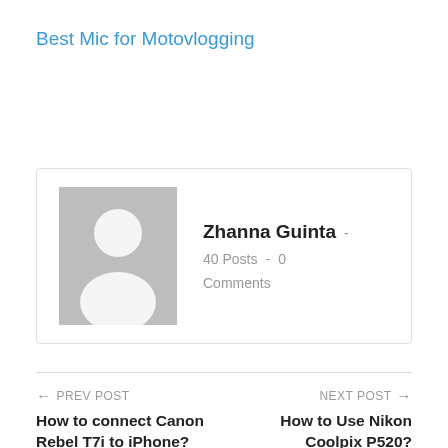Best Mic for Motovlogging
Zhanna Guinta  -  40 Posts  -  0
Comments
← PREV POST
How to connect Canon Rebel T7i to iPhone?
NEXT POST →
How to Use Nikon Coolpix P520?